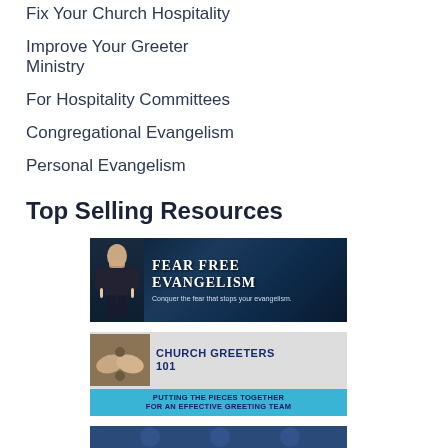Fix Your Church Hospitality
Improve Your Greeter Ministry
For Hospitality Committees
Congregational Evangelism
Personal Evangelism
Top Selling Resources
[Figure (illustration): Fear Free Evangelism banner: dark blue background with person and text 'FEAR FREE EVANGELISM - Conquer the fear that stops your evangelism.']
[Figure (illustration): Church Greeters 101 banner: puzzle pieces hands image with text 'CHURCH GREETERS 101 - PUTTING THE PIECES TOGETHER FOR AN EFFECTIVE GREETING TEAM']
[Figure (illustration): Partial banner visible at bottom of page with dark blue background]